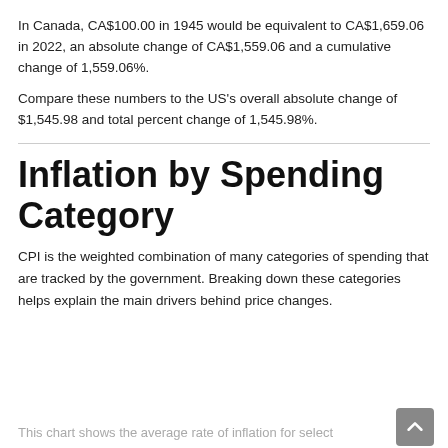In Canada, CA$100.00 in 1945 would be equivalent to CA$1,659.06 in 2022, an absolute change of CA$1,559.06 and a cumulative change of 1,559.06%.
Compare these numbers to the US's overall absolute change of $1,545.98 and total percent change of 1,545.98%.
Inflation by Spending Category
CPI is the weighted combination of many categories of spending that are tracked by the government. Breaking down these categories helps explain the main drivers behind price changes.
This chart shows the average rate of inflation for select...